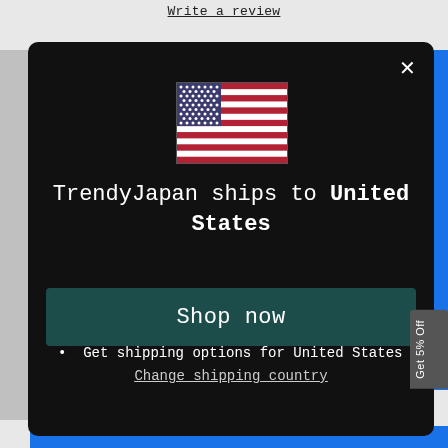Write a review
[Figure (screenshot): US flag emoji icon centered in modal]
TrendyJapan ships to United States
Shop in USD $
Get shipping options for United States
Shop now
Change shipping country